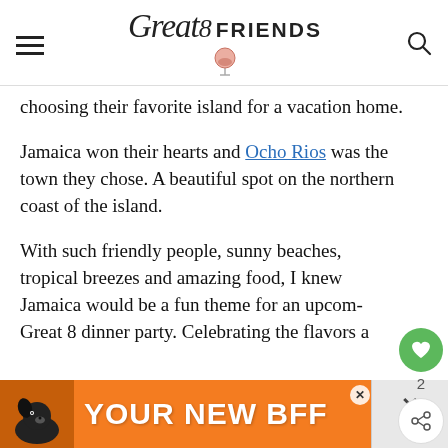Great 8 FRIENDS
choosing their favorite island for a vacation home.
Jamaica won their hearts and Ocho Rios was the town they chose. A beautiful spot on the northern coast of the island.
With such friendly people, sunny beaches, tropical breezes and amazing food, I knew Jamaica would be a fun theme for an upcoming Great 8 dinner party. Celebrating the flavors a…
[Figure (other): Orange advertisement banner with dog image and text YOUR NEW BFF]